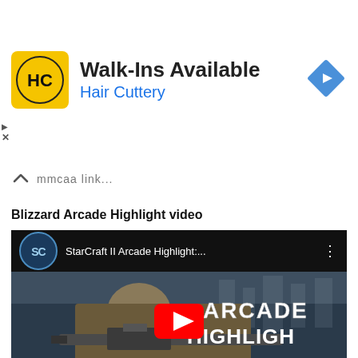[Figure (screenshot): Hair Cuttery advertisement banner with yellow HC logo, text 'Walk-Ins Available' and 'Hair Cuttery', blue diamond navigation icon on the right, and ad controls (play/X) on the left edge]
mmcaa link...
Blizzard Arcade Highlight video
[Figure (screenshot): YouTube embedded video thumbnail for 'StarCraft II Arcade Highlight:...' showing a StarCraft II character aiming a weapon with text 'ARCADE HIGHLIGHT' overlaid and a YouTube play button in the center]